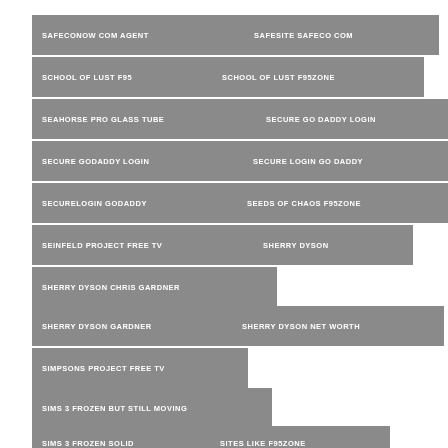SAFECONOW COM AGENT
SAFESITE SAFECO COM
SCHOOL OF LUST F95
SCHOOL OF LUST F95ZONE
SEAHORSE PRO GLASS TUBE
SECURE GO DADDY LOGIN
SECURE GODADDY LOGIN
SECURE LOGIN GO DADDY
SECURELOGIN GODADDY
SEEDS OF CHAOS F95ZONE
SEINFELD PROJECT FREE TV
SHERRY DYSON
SHERRY DYSON CHRIS GARDNER
SHERRY DYSON GARDNER
SHERRY DYSON NET WORTH
SIMPSONS PROJECT FREE TV
SIMS 3 FROZEN BUT STILL MOVING
SIMS 3 FROZEN SOLID
SITES LIKE F95ZONE
SMARTSQUARE MERCY
SOMETHING UNLIMITED F95